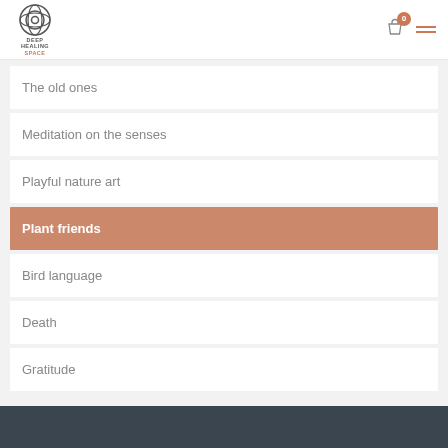Deep Healing Space
The old ones
Meditation on the senses
Playful nature art
Plant friends
Bird language
Death
Gratitude